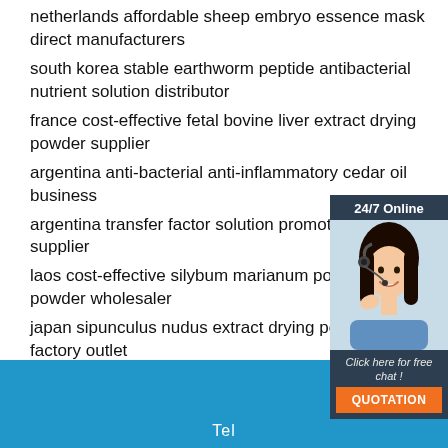netherlands affordable sheep embryo essence mask direct manufacturers
south korea stable earthworm peptide antibacterial nutrient solution distributor
france cost-effective fetal bovine liver extract drying powder supplier
argentina anti-bacterial anti-inflammatory cedar oil business
argentina transfer factor solution promotes human supplier
laos cost-effective silybum marianum polypeptide powder wholesaler
japan sipunculus nudus extract drying powder supplier factory outlet
laos whitening moisturizing mask acne marks direct manufacturers
egypt citronella essential oil excellence factory
[Figure (illustration): 24/7 online chat widget with a customer service representative photo, 'Click here for free chat!' text, and orange QUOTATION button]
[Figure (logo): Orange TOP logo with triangle dot pattern above the text]
Tel